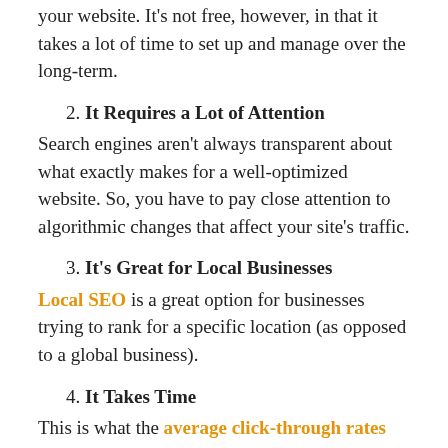your website. It's not free, however, in that it takes a lot of time to set up and manage over the long-term.
2. It Requires a Lot of Attention
Search engines aren't always transparent about what exactly makes for a well-optimized website. So, you have to pay close attention to algorithmic changes that affect your site's traffic.
3. It's Great for Local Businesses
Local SEO is a great option for businesses trying to rank for a specific location (as opposed to a global business).
4. It Takes Time
This is what the average click-through rates (CTR) for organic (non-paid) search results